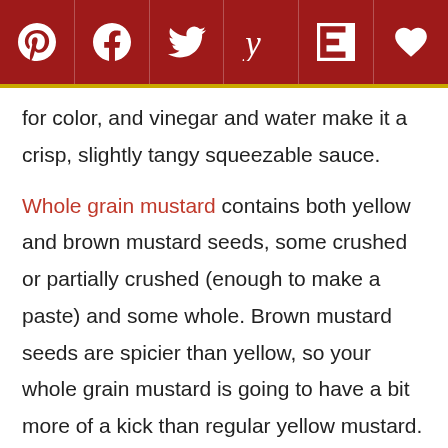Social sharing toolbar with icons: Pinterest, Facebook, Twitter, Yummly, Flipboard, Heart/Save
for color, and vinegar and water make it a crisp, slightly tangy squeezable sauce.

Whole grain mustard contains both yellow and brown mustard seeds, some crushed or partially crushed (enough to make a paste) and some whole. Brown mustard seeds are spicier than yellow, so your whole grain mustard is going to have a bit more of a kick than regular yellow mustard. Whole grain mustard usually contains apple cider vinegar and a bit of brown sugar, making it deliciously tangy with a bit of sweetness.
Can I prepare this creamy coleslaw recipe ahead of